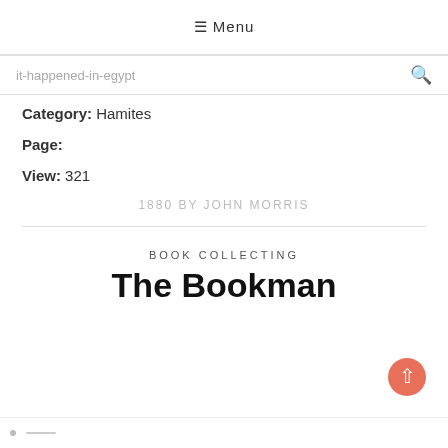≡ Menu
it-happened-in-egypt
Category: Hamites
Page:
View: 321
1880 By JOHN MORRIS
BOOK COLLECTING
The Bookman